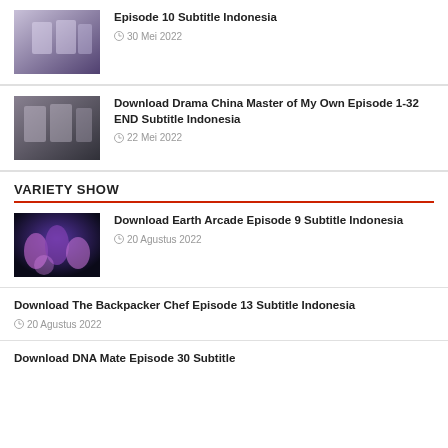Episode 10 Subtitle Indonesia — 30 Mei 2022
Download Drama China Master of My Own Episode 1-32 END Subtitle Indonesia — 22 Mei 2022
VARIETY SHOW
Download Earth Arcade Episode 9 Subtitle Indonesia — 20 Agustus 2022
Download The Backpacker Chef Episode 13 Subtitle Indonesia — 20 Agustus 2022
Download DNA Mate Episode 30 Subtitle